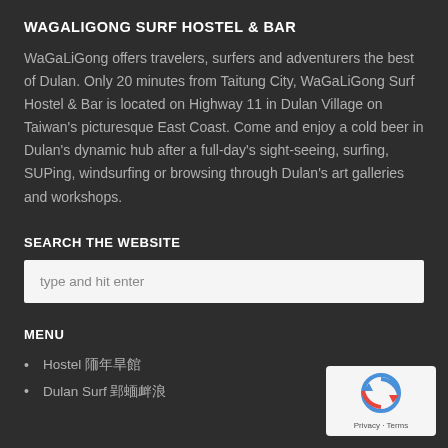WAGALIGONG SURF HOSTEL & BAR
WaGaLiGong offers travelers, surfers and adventurers the best of Dulan. Only 20 minutes from Taitung City, WaGaLiGong Surf Hostel & Bar is located on Highway 11 in Dulan Village on Taiwan's picturesque East Coast. Come and enjoy a cold beer in Dulan's dynamic hub after a full-day's sight-seeing, surfing, SUPing, windsurfing or browsing through Dulan's art galleries and workshops.
SEARCH THE WEBSITE
type and hit enter
MENU
Hostel 青年旅館
Dulan Surf 都蘭衝浪
[Figure (logo): reCAPTCHA badge with Privacy and Terms links]